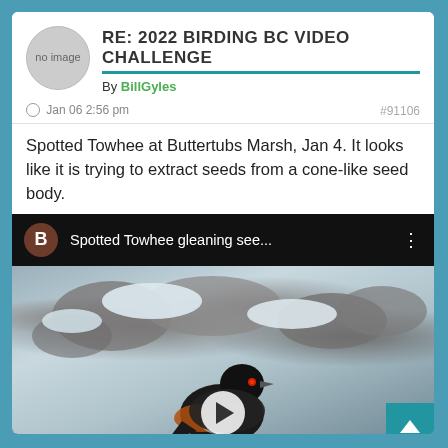RE: 2022 BIRDING BC VIDEO CHALLENGE
By BillGyles
- Jan 06 2:56 pm  #91106
Spotted Towhee at Buttertubs Marsh, Jan 4. It looks like it is trying to extract seeds from a cone-like seed body.
[Figure (screenshot): YouTube-style video embed showing a Spotted Towhee bird in snow. The video header shows a brown circle avatar with letter B, title 'Spotted Towhee gleaning see...' and a three-dot menu. Below is a thumbnail of a black Spotted Towhee bird against a snowy rocky background with a play button.]